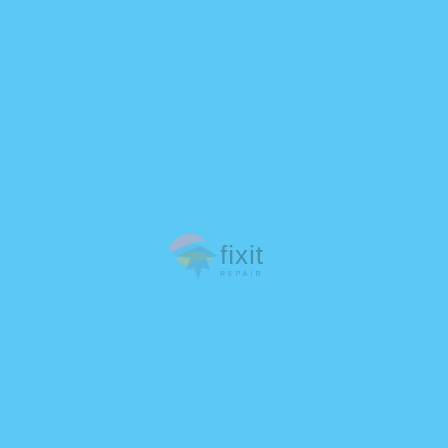[Figure (logo): fixit logo with stylized fish/arrow icon on a solid sky-blue background. The logo consists of a colorful swoosh/fish icon followed by the text 'fixit' in dark gray, with 'REPAIR' subtitle beneath in small caps. The entire page is a flat sky blue (#5BC8F5) serving as a background.]